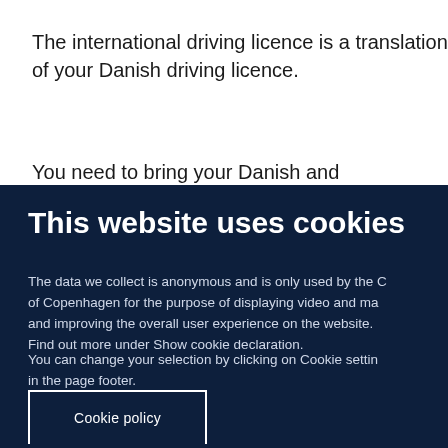The international driving licence is a translation of your Danish driving licence.
You need to bring your Danish and international
This website uses cookies
The data we collect is anonymous and is only used by the C of Copenhagen for the purpose of displaying video and ma and improving the overall user experience on the website. Find out more under Show cookie declaration.
You can change your selection by clicking on Cookie settin in the page footer.
Cookie policy